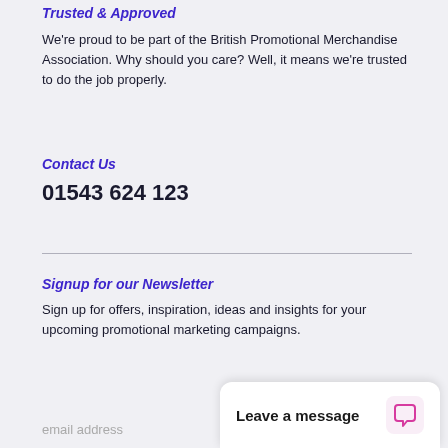Trusted & Approved
We're proud to be part of the British Promotional Merchandise Association. Why should you care? Well, it means we're trusted to do the job properly.
Contact Us
01543 624 123
Signup for our Newsletter
Sign up for offers, inspiration, ideas and insights for your upcoming promotional marketing campaigns.
email address
Leave a message